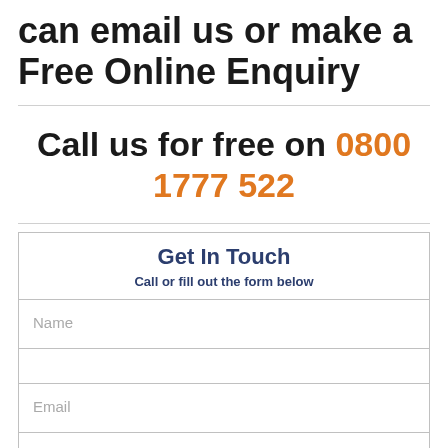can email us or make a Free Online Enquiry
Call us for free on 0800 1777 522
Get In Touch
Call or fill out the form below
Name
Email